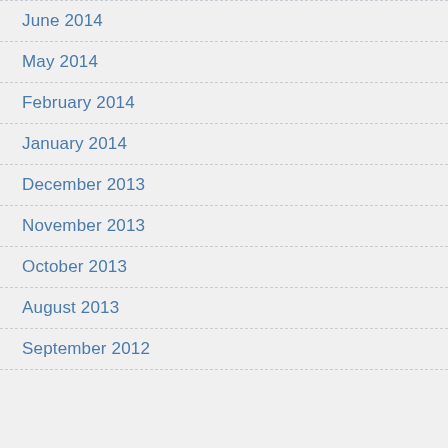June 2014
May 2014
February 2014
January 2014
December 2013
November 2013
October 2013
August 2013
September 2012